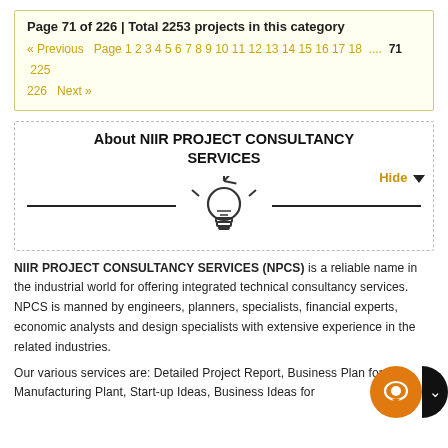Page 71 of 226 | Total 2253 projects in this category
« Previous  Page 1 2 3 4 5 6 7 8 9 10 11 12 13 14 15 16 17 18 .... 71 225 226  Next »
About NIIR PROJECT CONSULTANCY SERVICES
[Figure (illustration): Lightbulb icon with horizontal lines on each side, centered]
NIIR PROJECT CONSULTANCY SERVICES (NPCS) is a reliable name in the industrial world for offering integrated technical consultancy services. NPCS is manned by engineers, planners, specialists, financial experts, economic analysts and design specialists with extensive experience in the related industries.
Our various services are: Detailed Project Report, Business Plan for Manufacturing Plant, Start-up Ideas, Business Ideas for